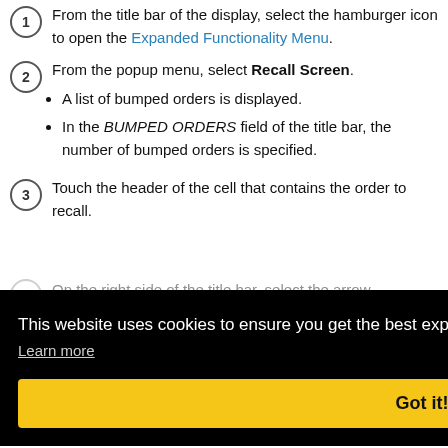From the title bar of the display, select the hamburger icon to open the Expanded Functionality Menu.
From the popup menu, select Recall Screen.
A list of bumped orders is displayed.
In the BUMPED ORDERS field of the title bar, the number of bumped orders is specified.
Touch the header of the cell that contains the order to recall.
On the right side of the title bar, select the arrow
This website uses cookies to ensure you get the best experience on our website. Learn more
Got it!
recalled order are displayed as separate added